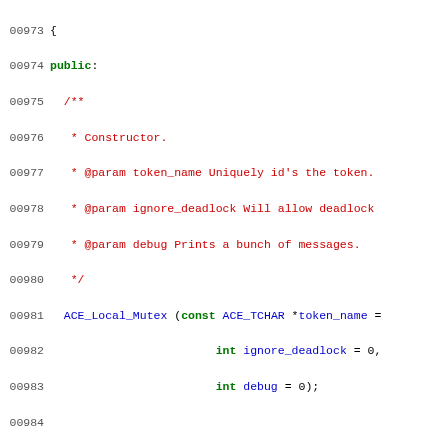[Figure (screenshot): Source code listing showing C++ class definition for ACE_Local_Mutex with line numbers 00973-01002, featuring syntax highlighting in green (keywords), red (comments), and blue (types/identifiers)]